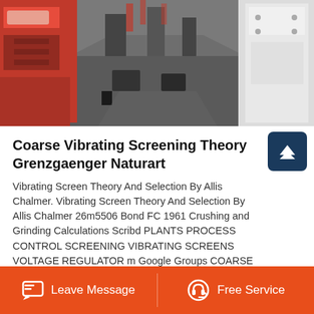[Figure (photo): Industrial machinery interior showing heavy equipment (crushers/screeners) in a factory setting, with red machine parts on the left and white on the right, gray floor extending to background]
Coarse Vibrating Screening Theory Grenzgaenger Naturart
Vibrating Screen Theory And Selection By Allis Chalmer. Vibrating Screen Theory And Selection By Allis Chalmer 26m5506 Bond FC 1961 Crushing and Grinding Calculations Scribd PLANTS PROCESS CONTROL SCREENING VIBRATING SCREENS VOLTAGE REGULATOR m Google Groups COARSE VIBRATING SCREENING THEORY copper ore ball . See Details.
Leave Message | Free Service